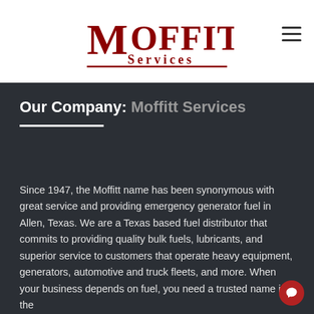[Figure (logo): Moffitt Services logo in red serif text with underline]
Our Company: Moffitt Services
Since 1947, the Moffitt name has been synonymous with great service and providing emergency generator fuel in Allen, Texas. We are a Texas based fuel distributor that commits to providing quality bulk fuels, lubricants, and superior service to customers that operate heavy equipment, generators, automotive and truck fleets, and more. When your business depends on fuel, you need a trusted name in the